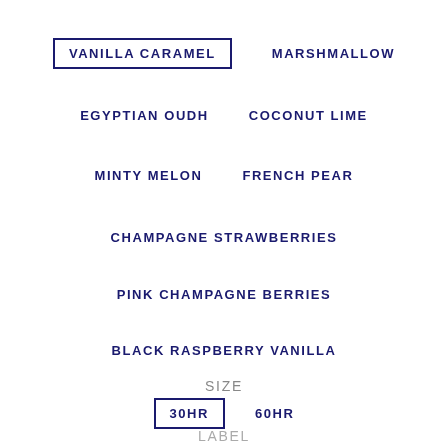VANILLA CARAMEL (selected/boxed)    MARSHMALLOW
EGYPTIAN OUDH    COCONUT LIME
MINTY MELON    FRENCH PEAR
CHAMPAGNE STRAWBERRIES
PINK CHAMPAGNE BERRIES
BLACK RASPBERRY VANILLA
SIZE
30HR (selected/boxed)    60HR
LABEL